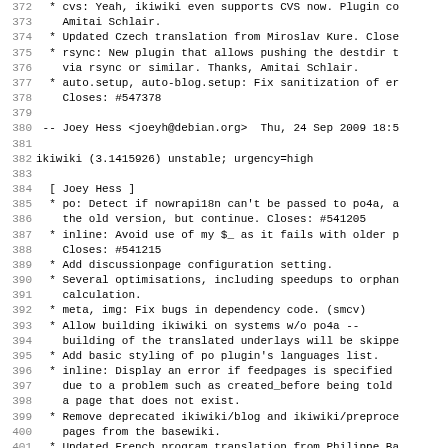372-403: ikiwiki changelog/code view with line numbers
| line | content |
| --- | --- |
| 372 |   * cvs: Yeah, ikiwiki even supports CVS now. Plugin co |
| 373 |     Amitai Schlair. |
| 374 |   * Updated Czech translation from Miroslav Kure. Close |
| 375 |   * rsync: New plugin that allows pushing the destdir t |
| 376 |     via rsync or similar. Thanks, Amitai Schlair. |
| 377 |   * auto.setup, auto-blog.setup: Fix sanitization of er |
| 378 |     Closes: #547378 |
| 379 |  |
| 380 |  -- Joey Hess <joeyh@debian.org>  Thu, 24 Sep 2009 18:5 |
| 381 |  |
| 382 | ikiwiki (3.1415926) unstable; urgency=high |
| 383 |  |
| 384 |   [ Joey Hess ] |
| 385 |   * po: Detect if nowrapi18n can't be passed to po4a, a |
| 386 |     the old version, but continue. Closes: #541205 |
| 387 |   * inline: Avoid use of my $_ as it fails with older p |
| 388 |     Closes: #541215 |
| 389 |   * Add discussionpage configuration setting. |
| 390 |   * Several optimisations, including speedups to orphan |
| 391 |     calculation. |
| 392 |   * meta, img: Fix bugs in dependency code. (smcv) |
| 393 |   * Allow building ikiwiki on systems w/o po4a -- |
| 394 |     building of the translated underlays will be skippe |
| 395 |   * Add basic styling of po plugin's languages list. |
| 396 |   * inline: Display an error if feedpages is specified |
| 397 |     due to a problem such as created_before being told |
| 398 |     a page that does not exist. |
| 399 |   * Remove deprecated ikiwiki/blog and ikiwiki/preproce |
| 400 |     pages from the basewiki. |
| 401 |   * Updated French program translation from Philippe Ba |
| 402 |     Closes: #542036 |
| 403 |   * po: Fixed to run rcs_add ralative to srcdir. |